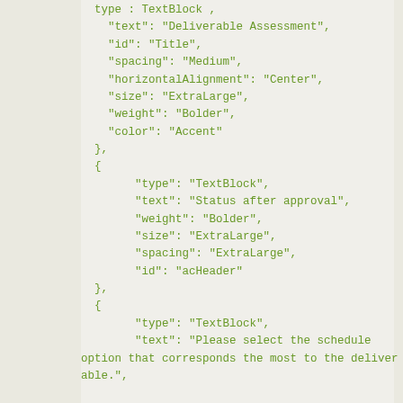type : TextBlock ,
"text": "Deliverable Assessment",
"id": "Title",
"spacing": "Medium",
"horizontalAlignment": "Center",
"size": "ExtraLarge",
"weight": "Bolder",
"color": "Accent"
},
{
    "type": "TextBlock",
    "text": "Status after approval",
    "weight": "Bolder",
    "size": "ExtraLarge",
    "spacing": "ExtraLarge",
    "id": "acHeader"
},
{
    "type": "TextBlock",
    "text": "Please select the schedule option that corresponds the most to the deliverable.",